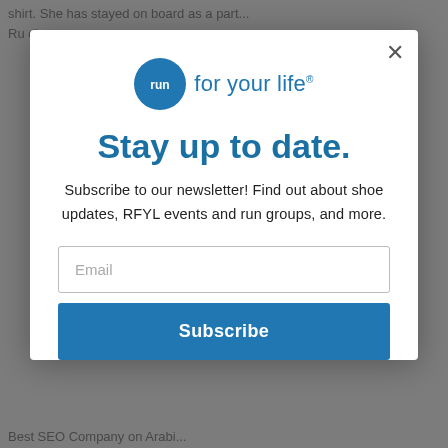shirt. She has stayed on board as a part... Ru dim...
[Figure (screenshot): Modal popup overlay on a website. Contains 'Run for your Life' logo, headline 'Stay up to date.', newsletter subscription text, email input field, and Subscribe button. Background shows partially visible webpage content.]
Stay up to date.
Subscribe to our newsletter! Find out about shoe updates, RFYL events and run groups, and more.
Email
Subscribe
Best SEO Company on Arabi...